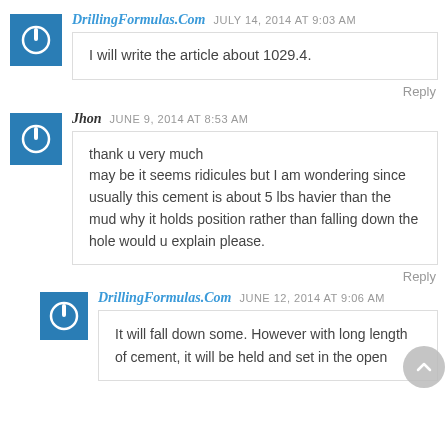[Figure (other): User avatar: blue square with white power button icon]
DrillingFormulas.Com JULY 14, 2014 AT 9:03 AM
I will write the article about 1029.4.
Reply
[Figure (other): User avatar: blue square with white power button icon]
Jhon JUNE 9, 2014 AT 8:53 AM
thank u very much
may be it seems ridicules but I am wondering since usually this cement is about 5 lbs havier than the mud why it holds position rather than falling down the hole would u explain please.
Reply
[Figure (other): User avatar: blue square with white power button icon]
DrillingFormulas.Com JUNE 12, 2014 AT 9:06 AM
It will fall down some. However with long length of cement, it will be held and set in the open